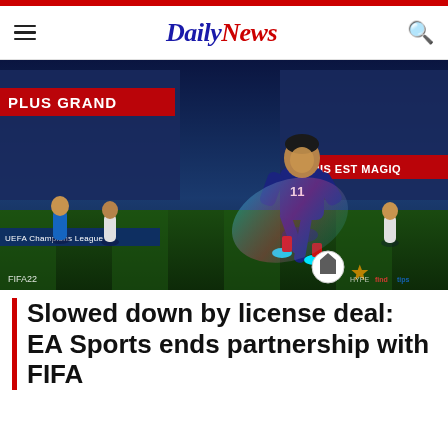Daily News
[Figure (photo): FIFA 22 video game screenshot showing a soccer player (Kylian Mbappé in PSG kit number 7/11) dribbling with a ball on a stadium pitch, with Champions League branding, crowd in background, and 'PARIS EST MAGIQUE' signage. Text overlays: FIFA22 bottom left, HYPE... bottom right.]
Slowed down by license deal: EA Sports ends partnership with FIFA